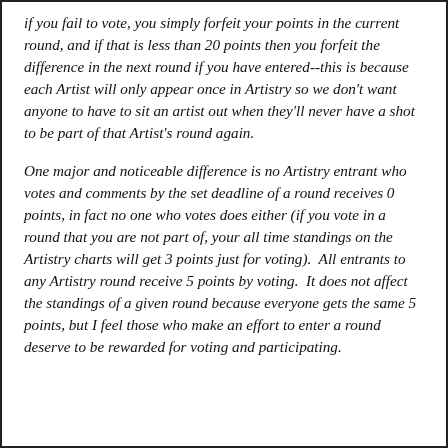if you fail to vote, you simply forfeit your points in the current round, and if that is less than 20 points then you forfeit the difference in the next round if you have entered--this is because each Artist will only appear once in Artistry so we don't want anyone to have to sit an artist out when they'll never have a shot to be part of that Artist's round again.
One major and noticeable difference is no Artistry entrant who votes and comments by the set deadline of a round receives 0 points, in fact no one who votes does either (if you vote in a round that you are not part of, your all time standings on the Artistry charts will get 3 points just for voting).  All entrants to any Artistry round receive 5 points by voting.  It does not affect the standings of a given round because everyone gets the same 5 points, but I feel those who make an effort to enter a round deserve to be rewarded for voting and participating.